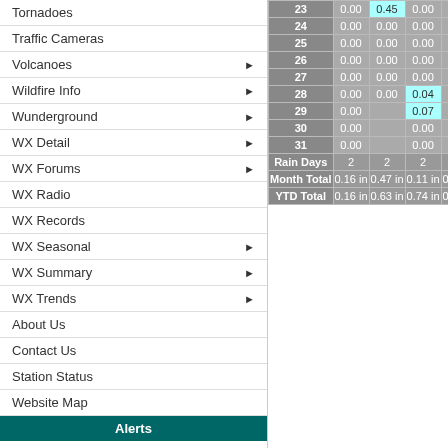Tornadoes
Traffic Cameras
Volcanoes ▶
Wildfire Info ▶
Wunderground ▶
WX Detail ▶
WX Forums ▶
WX Radio
WX Records
WX Seasonal ▶
WX Summary ▶
WX Trends ▶
About Us
Contact Us
Station Status
Website Map
Alerts
Phoenix WATCH
Gila County WATCH
La Paz County WATCH
| Day | Col1 | Col2 | Col3 | Col4 | Col5 |
| --- | --- | --- | --- | --- | --- |
| 23 | 0.00 | 0.45 | 0.00 | 0.00 | 0.00 |
| 24 | 0.00 | 0.00 | 0.00 | 0.00 | 0.00 |
| 25 | 0.00 | 0.00 | 0.00 | 0.00 | 0.00 |
| 26 | 0.00 | 0.00 | 0.00 | 0.00 | 0.00 |
| 27 | 0.00 | 0.00 | 0.00 | 0.00 | 0.00 |
| 28 | 0.00 | 0.00 | 0.04 | 0.00 | 0.00 |
| 29 | 0.00 |  | 0.07 | 0.00 | 0.00 |
| 30 | 0.00 |  | 0.00 | 0.00 | 0.00 |
| 31 | 0.00 |  | 0.00 |  | 0.00 |
| Rain Days | 2 | 2 | 2 | 0 | 0 |
| Month Total | 0.16  in | 0.47  in | 0.11  in | 0.00  in | 0.00  in |
| YTD Total | 0.16  in | 0.63  in | 0.74  in | 0.74  in | 0.74  in |
| < 0.25 | 0.25 - 0.50 | 0.50 - 0.75 | 0.75 - 1.00 | 1.00 - 1.25 | 1.25 - 1.50 | 1.5+ |
| --- | --- | --- | --- | --- | --- | --- |
Script Developed by www.TNETWeather.com. Modified by Murry Conarroe of Wi...